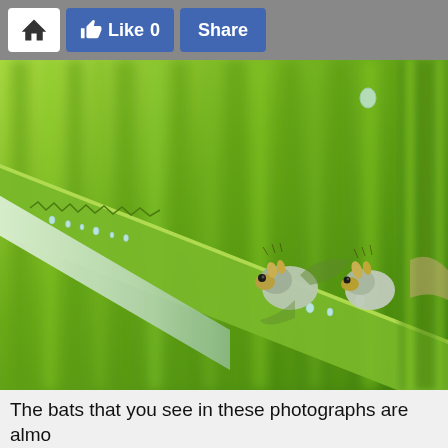Home | Like 0 | Share
[Figure (photo): Close-up macro photograph of small bats (Honduran white bats / tent-making bats) clinging upside-down to the underside of a large green leaf, with visible water droplets on the serrated leaf edge. The bats have pale grey-white fur and yellow facial features.]
The bats that you see in these photographs are almo